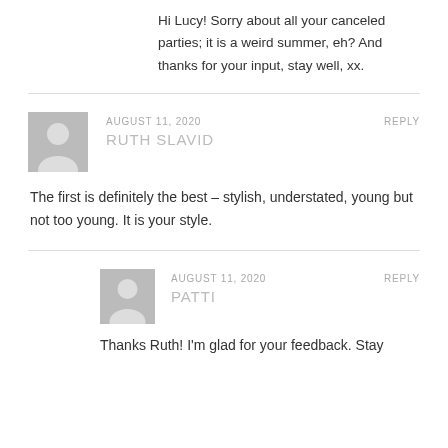Hi Lucy! Sorry about all your canceled parties; it is a weird summer, eh? And thanks for your input, stay well, xx.
AUGUST 11, 2020
REPLY
RUTH SLAVID
The first is definitely the best – stylish, understated, young but not too young. It is your style.
AUGUST 11, 2020
REPLY
PATTI
Thanks Ruth! I'm glad for your feedback. Stay...